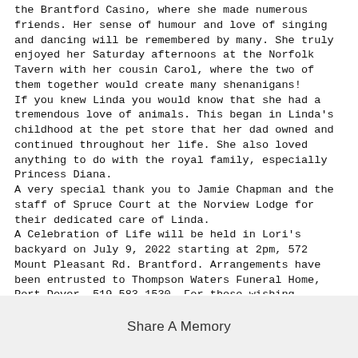the Brantford Casino, where she made numerous friends. Her sense of humour and love of singing and dancing will be remembered by many. She truly enjoyed her Saturday afternoons at the Norfolk Tavern with her cousin Carol, where the two of them together would create many shenanigans!
If you knew Linda you would know that she had a tremendous love of animals. This began in Linda's childhood at the pet store that her dad owned and continued throughout her life. She also loved anything to do with the royal family, especially Princess Diana.
A very special thank you to Jamie Chapman and the staff of Spruce Court at the Norview Lodge for their dedicated care of Linda.
A Celebration of Life will be held in Lori's backyard on July 9, 2022 starting at 2pm, 572 Mount Pleasant Rd. Brantford. Arrangements have been entrusted to Thompson Waters Funeral Home, Port Dover, 519-583-1530. For those wishing donations to H/N Alzheimer Society or the SPCA would be greatly appreciated by the family. On-line donations/and/or condolences can be made at www.thompsonwatersfuneralhome.ca
Share A Memory